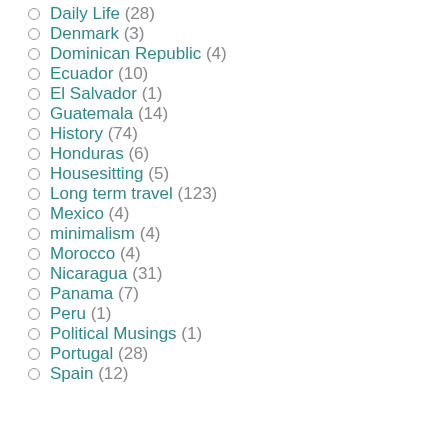Daily Life (28)
Denmark (3)
Dominican Republic (4)
Ecuador (10)
El Salvador (1)
Guatemala (14)
History (74)
Honduras (6)
Housesitting (5)
Long term travel (123)
Mexico (4)
minimalism (4)
Morocco (4)
Nicaragua (31)
Panama (7)
Peru (1)
Political Musings (1)
Portugal (28)
Spain (12)